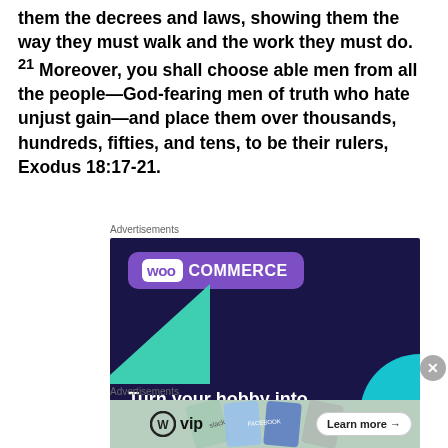them the decrees and laws, showing them the way they must walk and the work they must do. 21 Moreover, you shall choose able men from all the people—God-fearing men of truth who hate unjust gain—and place them over thousands, hundreds, fifties, and tens, to be their rulers, Exodus 18:17-21.
Advertisements
[Figure (screenshot): WooCommerce advertisement with dark purple background showing 'Turn your hobby into a business in 8 steps' text and WooCommerce logo]
Advertisements
[Figure (screenshot): WordPress VIP advertisement with 'Learn more' button and social media brand cards in background]